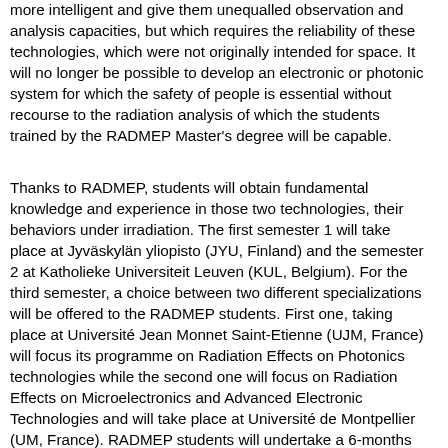more intelligent and give them unequalled observation and analysis capacities, but which requires the reliability of these technologies, which were not originally intended for space. It will no longer be possible to develop an electronic or photonic system for which the safety of people is essential without recourse to the radiation analysis of which the students trained by the RADMEP Master's degree will be capable.
Thanks to RADMEP, students will obtain fundamental knowledge and experience in those two technologies, their behaviors under irradiation. The first semester 1 will take place at Jyväskylän yliopisto (JYU, Finland) and the semester 2 at Katholieke Universiteit Leuven (KUL, Belgium). For the third semester, a choice between two different specializations will be offered to the RADMEP students. First one, taking place at Université Jean Monnet Saint-Etienne (UJM, France) will focus its programme on Radiation Effects on Photonics technologies while the second one will focus on Radiation Effects on Microelectronics and Advanced Electronic Technologies and will take place at Université de Montpellier (UM, France). RADMEP students will undertake a 6-months master thesis either in an industrial, an agency or in a research center, for example from the large RADMEP network of